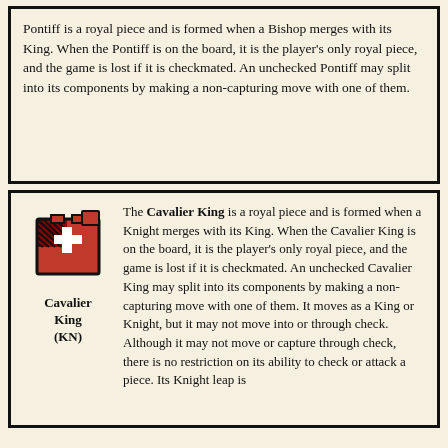Pontiff is a royal piece and is formed when a Bishop merges with its King. When the Pontiff is on the board, it is the player's only royal piece, and the game is lost if it is checkmated. An unchecked Pontiff may split into its components by making a non-capturing move with one of them.
[Figure (illustration): Red and dark chess piece icon representing Cavalier King (KN), a combination of Knight and King pieces shown in pixel/icon art style]
The Cavalier King is a royal piece and is formed when a Knight merges with its King. When the Cavalier King is on the board, it is the player's only royal piece, and the game is lost if it is checkmated. An unchecked Cavalier King may split into its components by making a non-capturing move with one of them. It moves as a King or Knight, but it may not move into or through check. Although it may not move or capture through check, there is no restriction on its ability to check or attack a piece. Its Knight leap is